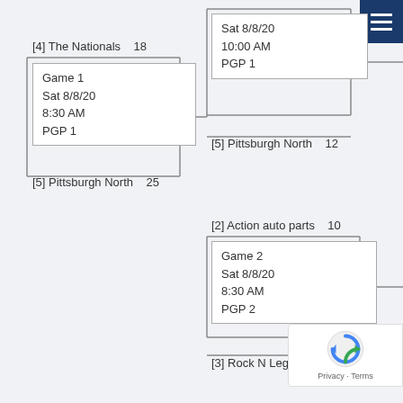[Figure (other): Tournament bracket showing Game 1 and Game 2 matchups. Top bracket: [4] The Nationals 18 vs [5] Pittsburgh North 25, Game 1, Sat 8/8/20, 8:30 AM, PGP 1. Winner plays against [5] Pittsburgh North 12 in a game on Sat 8/8/20, 10:00 AM, PGP 1. Bottom bracket: [2] Action auto parts 10 vs [3] Rock N Legends 21, Game 2, Sat 8/8/20, 8:30 AM, PGP 2.]
[4] The Nationals   18
Game 1
Sat 8/8/20
8:30 AM
PGP 1
[5] Pittsburgh North   25
Sat 8/8/20
10:00 AM
PGP 1
[5] Pittsburgh North   12
[2] Action auto parts   10
Game 2
Sat 8/8/20
8:30 AM
PGP 2
[3] Rock N Legends   21